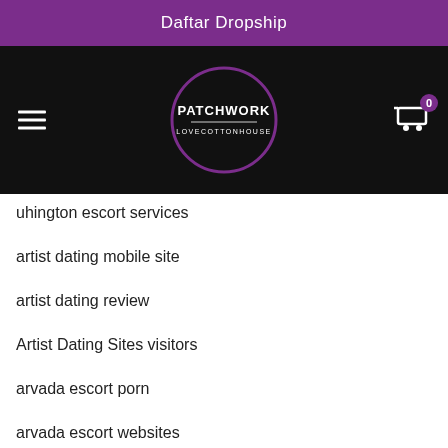Daftar Dropship
[Figure (logo): Patchwork Lovecottonhouse logo in a circle on black navigation bar with hamburger menu and cart icon]
uhington escort services
artist dating mobile site
artist dating review
Artist Dating Sites visitors
arvada escort porn
arvada escort websites
Asexual Dating app for
Asexual Dating m?chte eine ?berpr?fung der Website